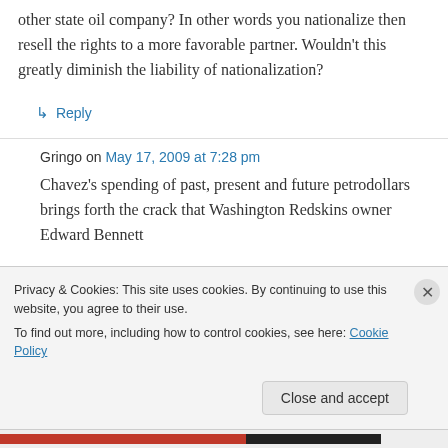other state oil company? In other words you nationalize then resell the rights to a more favorable partner. Wouldn't this greatly diminish the liability of nationalization?
↳ Reply
Gringo on May 17, 2009 at 7:28 pm
Chavez's spending of past, present and future petrodollars brings forth the crack that Washington Redskins owner Edward Bennett
Privacy & Cookies: This site uses cookies. By continuing to use this website, you agree to their use.
To find out more, including how to control cookies, see here: Cookie Policy
Close and accept